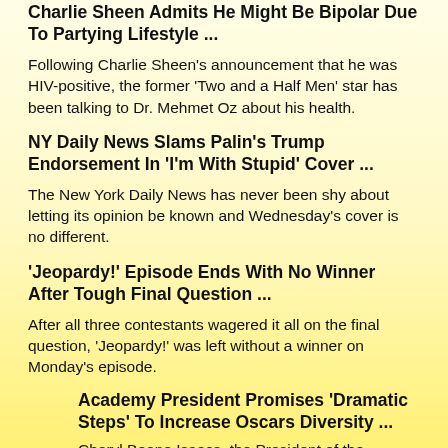Charlie Sheen Admits He Might Be Bipolar Due To Partying Lifestyle ...
Following Charlie Sheen's announcement that he was HIV-positive, the former 'Two and a Half Men' star has been talking to Dr. Mehmet Oz about his health.
NY Daily News Slams Palin's Trump Endorsement In 'I'm With Stupid' Cover ...
The New York Daily News has never been shy about letting its opinion be known and Wednesday's cover is no different.
'Jeopardy!' Episode Ends With No Winner After Tough Final Question ...
After all three contestants wagered it all on the final question, 'Jeopardy!' was left without a winner on Monday's episode.
Academy President Promises 'Dramatic Steps' To Increase Oscars Diversity ...
Cheryl Boone Isaacs, the President of the Academy of Motion Picture Arts & Sciences, is promising "dramatic steps" to increase diversity in the Oscar nominations.